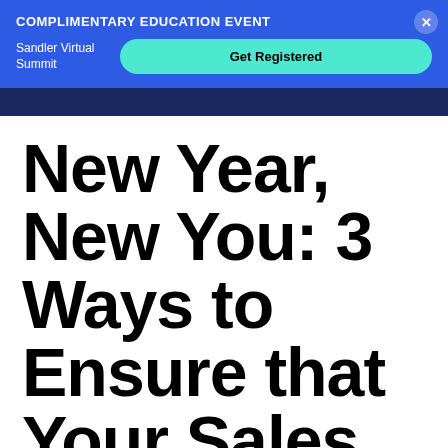COMPLIMENTARY EDUCATION EVENT
Sandler Virtual Summit
Get Registered
New Year, New You: 3 Ways to Ensure that Your Sales